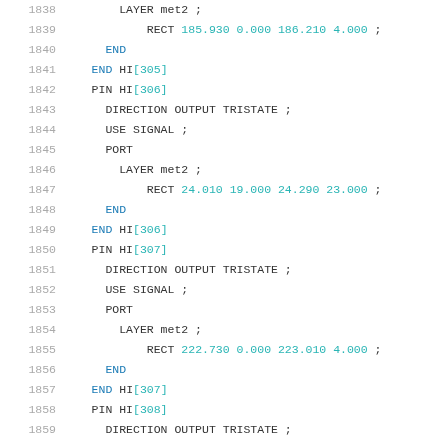Code listing lines 1838-1859, LEF/DEF hardware description file showing PIN definitions for HI[305] through HI[308] with DIRECTION, USE, PORT, LAYER, and RECT statements.